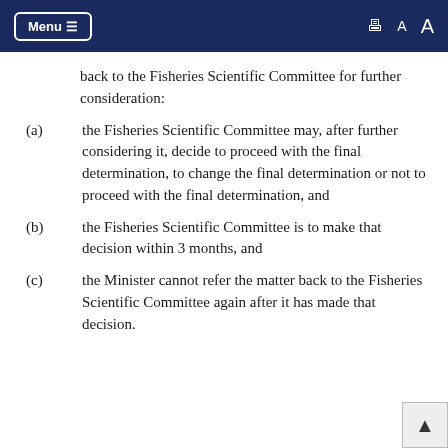Menu  [print] A A
back to the Fisheries Scientific Committee for further consideration:
(a) the Fisheries Scientific Committee may, after further considering it, decide to proceed with the final determination, to change the final determination or not to proceed with the final determination, and
(b) the Fisheries Scientific Committee is to make that decision within 3 months, and
(c) the Minister cannot refer the matter back to the Fisheries Scientific Committee again after it has made that decision.